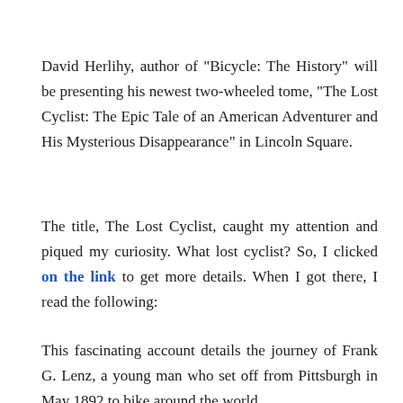David Herlihy, author of "Bicycle: The History" will be presenting his newest two-wheeled tome, "The Lost Cyclist: The Epic Tale of an American Adventurer and His Mysterious Disappearance" in Lincoln Square.
The title, The Lost Cyclist, caught my attention and piqued my curiosity. What lost cyclist? So, I clicked on the link to get more details. When I got there, I read the following:
This fascinating account details the journey of Frank G. Lenz, a young man who set off from Pittsburgh in May 1892 to bike around the world